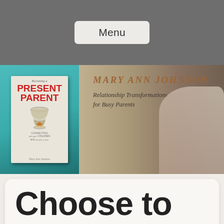Menu
[Figure (photo): Website header banner showing the book 'Becoming a Present Parent' by Mary Ann Johnson on the left against a teal background, and text 'Mary Ann Johnson – Relationship Transformations for Busy Parents' on the right with a photo of an older woman with short gray hair, glasses, and a turquoise necklace, smiling outdoors in a winter setting.]
Choose to Let Go of